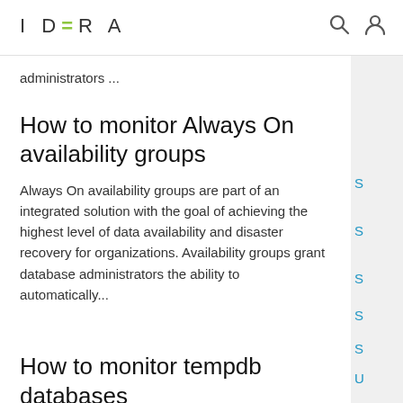IDERA
administrators ...
How to monitor Always On availability groups
Always On availability groups are part of an integrated solution with the goal of achieving the highest level of data availability and disaster recovery for organizations. Availability groups grant database administrators the ability to automatically...
How to monitor tempdb databases
Introduction The tempdb system database is a workspace used to hold temporary user objects, results created through queries and sorts, and other objects created by the SQL Server Database Engine. Because of the significant amount of data stored ...